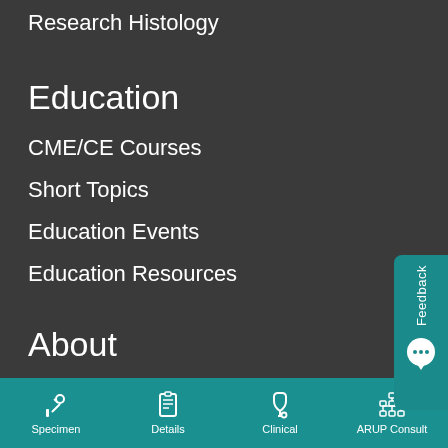Research Histology
Education
CME/CE Courses
Short Topics
Education Events
Education Resources
About
Contact Us
News
Experts
[Figure (screenshot): Feedback button on right side, teal colored with chat bubble icon and vertical text reading Feedback]
Specimen  Details  Clinical  ARUP Consult